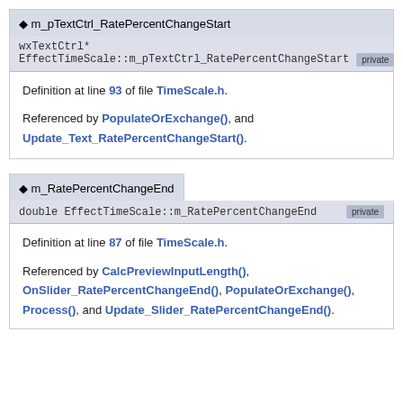m_pTextCtrl_RatePercentChangeStart
wxTextCtrl*
EffectTimeScale::m_pTextCtrl_RatePercentChangeStart [private]
Definition at line 93 of file TimeScale.h.
Referenced by PopulateOrExchange(), and Update_Text_RatePercentChangeStart().
m_RatePercentChangeEnd
double EffectTimeScale::m_RatePercentChangeEnd [private]
Definition at line 87 of file TimeScale.h.
Referenced by CalcPreviewInputLength(), OnSlider_RatePercentChangeEnd(), PopulateOrExchange(), Process(), and Update_Slider_RatePercentChangeEnd().